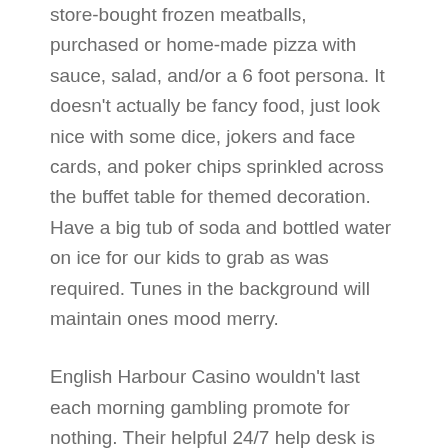store-bought frozen meatballs, purchased or home-made pizza with sauce, salad, and/or a 6 foot persona. It doesn't actually be fancy food, just look nice with some dice, jokers and face cards, and poker chips sprinkled across the buffet table for themed decoration. Have a big tub of soda and bottled water on ice for our kids to grab as was required. Tunes in the background will maintain ones mood merry.
English Harbour Casino wouldn't last each morning gambling promote for nothing. Their helpful 24/7 help desk is always open to reply to any of the questions when considering of their casino games and skills. So you can enjoy their great line of casino games such as blackjack, slots, poker, etc.
People may even play against others online through many Casino play services. For example, people can play against others from globe the world in free poker kitchens. It can be fun perform against others to see who most beneficial poker player in a